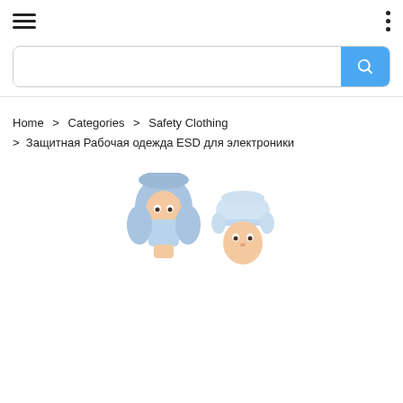[Figure (screenshot): Top navigation bar with hamburger menu on left and three vertical dots menu on right]
[Figure (screenshot): Search bar with blue search button on the right]
Home > Categories > Safety Clothing > Защитная Рабочая одежда ESD для электроники
[Figure (photo): Two people wearing protective ESD cleanroom headwear: left person in blue full-cover hood with face mask, right person in white cap]